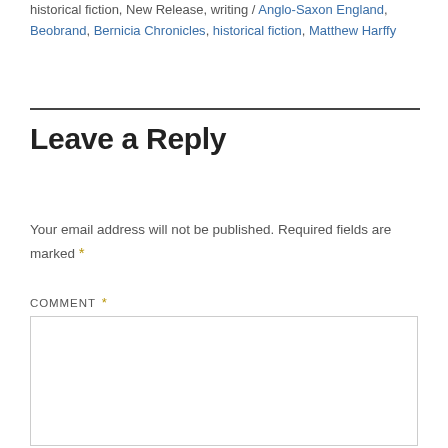historical fiction, New Release, writing / Anglo-Saxon England, Beobrand, Bernicia Chronicles, historical fiction, Matthew Harffy
Leave a Reply
Your email address will not be published. Required fields are marked *
COMMENT *
[Figure (other): Empty comment text area input box]